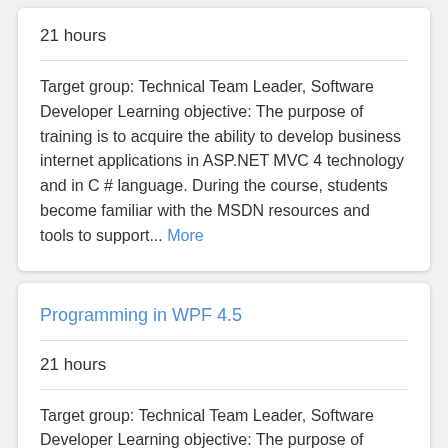21 hours
Target group: Technical Team Leader, Software Developer Learning objective: The purpose of training is to acquire the ability to develop business internet applications in ASP.NET MVC 4 technology and in C # language. During the course, students become familiar with the MSDN resources and tools to support... More
Programming in WPF 4.5
21 hours
Target group: Technical Team Leader, Software Developer Learning objective: The purpose of training is to acquire the ability to develop business desktop